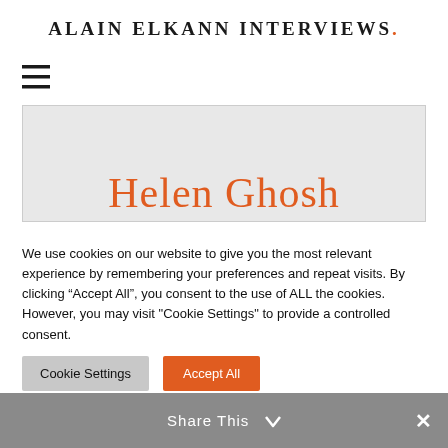ALAIN ELKANN INTERVIEWS.
[Figure (other): Hamburger menu icon (three horizontal lines)]
[Figure (other): Feature image box containing partial heading 'Helen Ghosh' in orange serif font]
We use cookies on our website to give you the most relevant experience by remembering your preferences and repeat visits. By clicking “Accept All”, you consent to the use of ALL the cookies. However, you may visit "Cookie Settings" to provide a controlled consent.
Cookie Settings
Accept All
Share This ✕